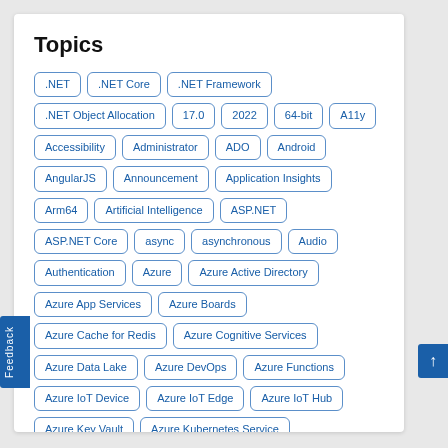Topics
.NET
.NET Core
.NET Framework
.NET Object Allocation
17.0
2022
64-bit
A11y
Accessibility
Administrator
ADO
Android
AngularJS
Announcement
Application Insights
Arm64
Artificial Intelligence
ASP.NET
ASP.NET Core
async
asynchronous
Audio
Authentication
Azure
Azure Active Directory
Azure App Services
Azure Boards
Azure Cache for Redis
Azure Cognitive Services
Azure Data Lake
Azure DevOps
Azure Functions
Azure IoT Device
Azure IoT Edge
Azure IoT Hub
Azure Key Vault
Azure Kubernetes Service